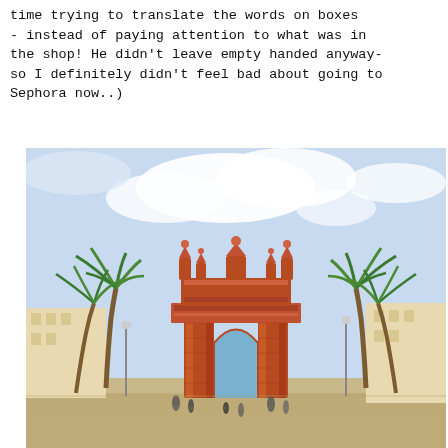time trying to translate the words on boxes - instead of paying attention to what was in the shop! He didn't leave empty handed anyway- so I definitely didn't feel bad about going to Sephora now..)
[Figure (photo): Photograph of the Arc de Triomf in Barcelona, Spain. A large ornate red-brick triumphal arch with palm trees on either side and people walking in the foreground. Blue sky with clouds in the background.]